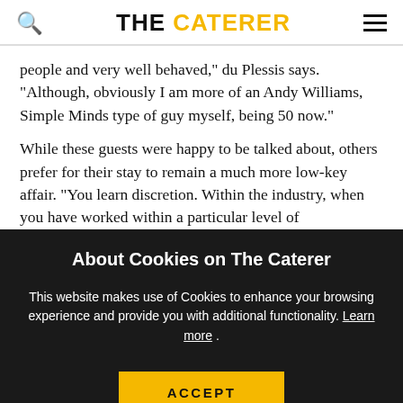THE CATERER
people and very well behaved," du Plessis says. "Although, obviously I am more of an Andy Williams, Simple Minds type of guy myself, being 50 now."
While these guests were happy to be talked about, others prefer for their stay to remain a much more low-key affair. "You learn discretion. Within the industry, when you have worked within a particular level of
About Cookies on The Caterer
This website makes use of Cookies to enhance your browsing experience and provide you with additional functionality. Learn more .